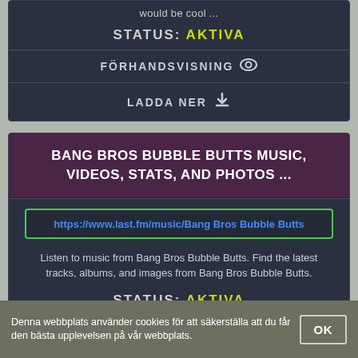would be cool ...
STATUS: AKTIVA
FÖRHANDSVISNING
LADDA NER
BANG BROS BUBBLE BUTTS MUSIC, VIDEOS, STATS, AND PHOTOS ...
https://www.last.fm/music/Bang Bros Bubble Butts
Listen to music from Bang Bros Bubble Butts. Find the latest tracks, albums, and images from Bang Bros Bubble Butts.
STATUS: AKTIVA
Denna webbplats använder cookies för att säkerställa att du får den bästa upplevelsen på vår webbplats.